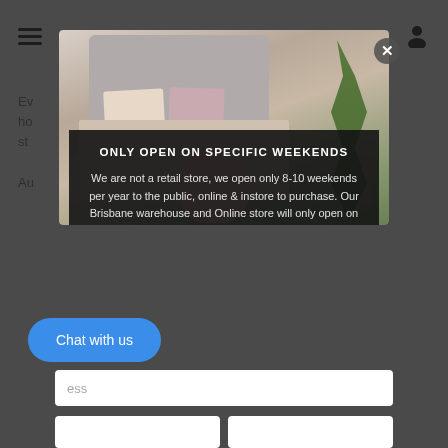[Figure (screenshot): Website screenshot showing a popup modal over a home furniture/decor website. The modal contains a bedroom photo with a dark overlay text box reading 'ONLY OPEN ON SPECIFIC WEEKENDS' with body text explaining the store opens 8-10 weekends per year. Background shows partial page text, hamburger menu, user icon. A blue 'Chat with us' button and email input field are visible at bottom.]
ONLY OPEN ON SPECIFIC WEEKENDS
We are not a retail store, we open only 8-10 weekends per year to the public, online & instore to purchase. Our Brisbane warehouse and Online store will only open on these event weekends
Chat with us
ess